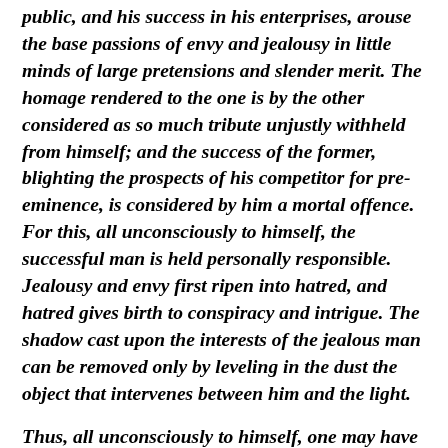public, and his success in his enterprises, arouse the base passions of envy and jealousy in little minds of large pretensions and slender merit. The homage rendered to the one is by the other considered as so much tribute unjustly withheld from himself; and the success of the former, blighting the prospects of his competitor for pre-eminence, is considered by him a mortal offence. For this, all unconsciously to himself, the successful man is held personally responsible. Jealousy and envy first ripen into hatred, and hatred gives birth to conspiracy and intrigue. The shadow cast upon the interests of the jealous man can be removed only by leveling in the dust the object that intervenes between him and the light.
Thus, all unconsciously to himself, one may have an enemy to watch him, to garble his sayings, to pervert his actions, and to weave around him meshes that he may